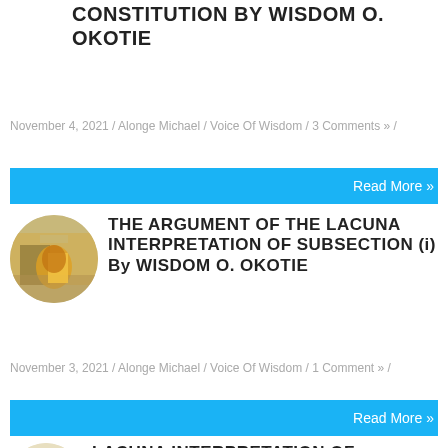CONSTITUTION BY WISDOM O. OKOTIE
November 4, 2021 / Alonge Michael / Voice Of Wisdom / 3 Comments » /
Read More »
THE ARGUMENT OF THE LACUNA INTERPRETATION OF SUBSECTION (i) By WISDOM O. OKOTIE
November 3, 2021 / Alonge Michael / Voice Of Wisdom / 1 Comment » /
Read More »
LACUNA INTERPRETATION OF